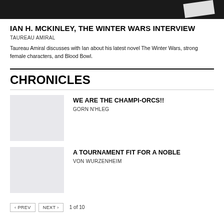[Figure (photo): Dark background photo, partially visible, showing a light-colored object on the right side]
IAN H. MCKINLEY, THE WINTER WARS INTERVIEW
TAUREAU AMIRAL
Taureau Amiral discusses with Ian about his latest novel The Winter Wars, strong female characters, and Blood Bowl.
CHRONICLES
WE ARE THE CHAMPI-ORCS!!
GORN N'HLEG
A TOURNAMENT FIT FOR A NOBLE
VON WURZENHEIM
‹ PREV   NEXT ›   1 of 10